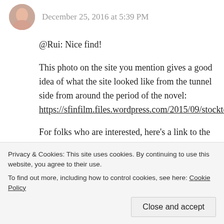December 25, 2016 at 5:39 PM
@Rui: Nice find!
This photo on the site you mention gives a good idea of what the site looked like from the tunnel side from around the period of the novel:
https://sfinfilm.files.wordpress.com/2015/09/stocktontunnelinsideuse3.jpg
For folks who are interested, here’s a link to the specific post you mention in your comment:
https://sfinfilm.com/2015/09/25/sam-spades-san-francisco-15/
Privacy & Cookies: This site uses cookies. By continuing to use this website, you agree to their use.
To find out more, including how to control cookies, see here: Cookie Policy
Close and accept